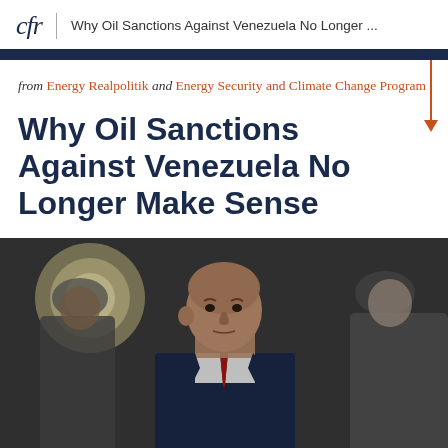cfr | Why Oil Sanctions Against Venezuela No Longer ...
from Energy Realpolitik and Energy Security and Climate Change Program
Why Oil Sanctions Against Venezuela No Longer Make Sense
[Figure (photo): A man in a suit with a serious expression standing in front of blurred figures in the background]